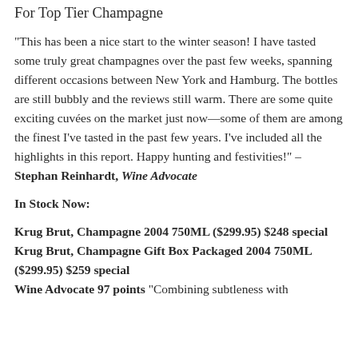For Top Tier Champagne
“This has been a nice start to the winter season! I have tasted some truly great champagnes over the past few weeks, spanning different occasions between New York and Hamburg. The bottles are still bubbly and the reviews still warm. There are some quite exciting cuvées on the market just now—some of them are among the finest I’ve tasted in the past few years. I’ve included all the highlights in this report. Happy hunting and festivities!” – Stephan Reinhardt, Wine Advocate
In Stock Now:
Krug Brut, Champagne 2004 750ML ($299.95) $248 special
Krug Brut, Champagne Gift Box Packaged 2004 750ML ($299.95) $259 special
Wine Advocate 97 points “Combining subtleness with